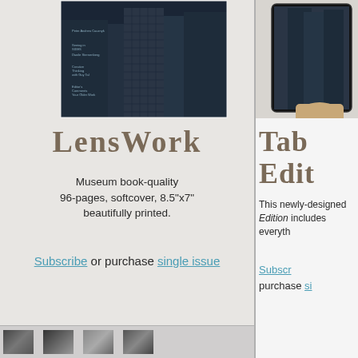[Figure (photo): Magazine cover of LensWork showing tall city buildings in monochrome, with text listing article topics]
LensWork
Museum book-quality 96-pages, softcover, 8.5"x7" beautifully printed.
Subscribe or purchase single issue
[Figure (photo): Hand holding a tablet device displaying a city buildings photograph]
Tab Edit
This newly-designed Edition includes everyth
Subscr purchase si